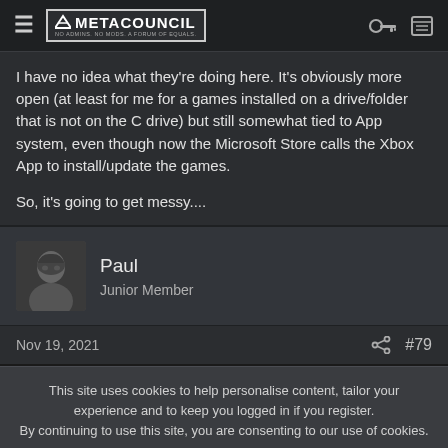METACOUNCIL — NO ADMINS. NO MODS. A FORUM OF EQUALS.
I have no idea what they're doing here. It's obviously more open (at least for me for a games installed on a drive/folder that is not on the C drive) but still somewhat tied to App system, even though now the Microsoft Store calls the Xbox App to install/update the games.

So, it's going to get messy....
Paul
Junior Member
Nov 19, 2021
#79
This site uses cookies to help personalise content, tailor your experience and to keep you logged in if you register.
By continuing to use this site, you are consenting to our use of cookies.
ACCEPT    LEARN MORE...